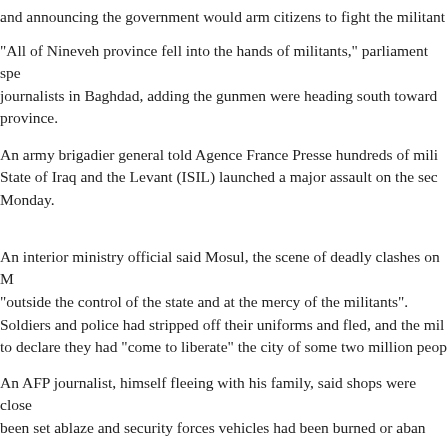Prime Minister Nuri al-Maliki responded by asking parliament to declare a state of emergency and announcing the government would arm citizens to fight the militants.
"All of Nineveh province fell into the hands of militants," parliament speaker Osama al-Nujaifi told journalists in Baghdad, adding the gunmen were heading south towards Salaheddin province.
An army brigadier general told Agence France Presse hundreds of militants from the Islamic State of Iraq and the Levant (ISIL) launched a major assault on the second city of Iraq on Monday.
An interior ministry official said Mosul, the scene of deadly clashes on Monday, was now "outside the control of the state and at the mercy of the militants".
Soldiers and police had stripped off their uniforms and fled, and the militants used loudspeakers to declare they had "come to liberate" the city of some two million people.
An AFP journalist, himself fleeing with his family, said shops were closed, buildings had been set ablaze and security forces vehicles had been burned or abandoned.
Hundreds of families were seen fleeing. Some were on foot, carrying what they could, others in vehicles with their belongings piled on the roofs.
In the Kurdish north, another AFP journalist said thousands of Mosul residents had fled to the safety of the autonomous region.
Dozens of cars and trucks stretched out from one checkpoint on the border with Kurdistan, and people with plastic bags, suitcases and a pram waited to enter, some with small children.
Those safe from the crossers, their convoy was delayed and their kin tha...